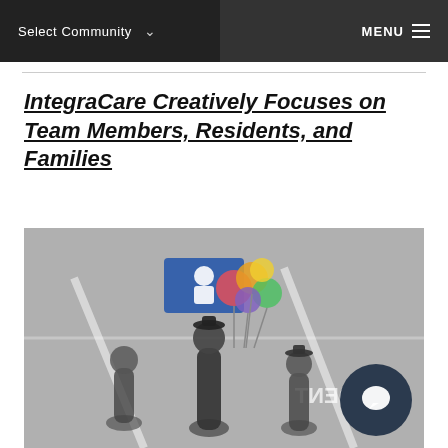Select Community  ∨    MENU ≡
IntegraCare Creatively Focuses on Team Members, Residents, and Families
[Figure (photo): Outdoor scene showing several people standing in a parking lot with colorful balloons. The photo appears to be taken from above. A blue sign is visible in the background. A dark chat/messenger icon button is overlaid in the lower-right corner.]